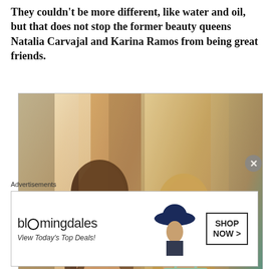They couldn't be more different, like water and oil, but that does not stop the former beauty queens Natalia Carvajal and Karina Ramos from being great friends.
[Figure (photo): Two women in bikinis seated on blue chairs against a curtained background in warm sunlight]
Advertisements
[Figure (other): Bloomingdale's advertisement banner with text 'bloomingdales', 'View Today's Top Deals!', a woman in a wide-brim hat, and a 'SHOP NOW >' button]